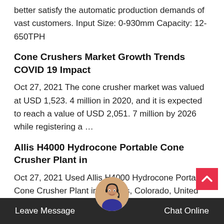better satisfy the automatic production demands of vast customers. Input Size: 0-930mm Capacity: 12-650TPH
Cone Crushers Market Growth Trends COVID 19 Impact
Oct 27, 2021 The cone crusher market was valued at USD 1,523. 4 million in 2020, and it is expected to reach a value of USD 2,051. 7 million by 2026 while registering a …
Allis H4000 Hydrocone Portable Cone Crusher Plant in
Oct 27, 2021 Used Allis H4000 Hydrocone Portable Cone Crusher Plant in Mancos, Colorado, United States for sale, inspected and guaranteed. 300 Horsepower Drive Motor, Switch Gear, Cedarapids 20 ft x 6 ft Triple Deck Screen, 41 In x Lint Fines Discharge
Leave Message   Chat Online